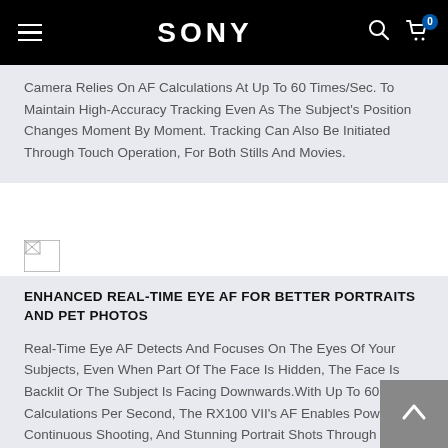SONY
Camera Relies On AF Calculations At Up To 60 Times/Sec. To Maintain High-Accuracy Tracking Even As The Subject's Position Changes Moment By Moment. Tracking Can Also Be Initiated Through Touch Operation, For Both Stills And Movies.
[Figure (photo): Small broken image placeholder icon]
ENHANCED REAL-TIME EYE AF FOR BETTER PORTRAITS AND PET PHOTOS
Real-Time Eye AF Detects And Focuses On The Eyes Of Your Subjects, Even When Part Of The Face Is Hidden, The Face Is Backlit Or The Subject Is Facing Downwards. With Up To 60 AF Calculations Per Second, The RX100 VII's AF Enables Powerful Continuous Shooting, And Stunning Portrait Shots Through Precise Focusing On Your Subject's Eyes – Person Or Animal. For Human Subjects, Activating Real-Time Eye AF Simply Requires A Half-Press Of The Shutter Button.